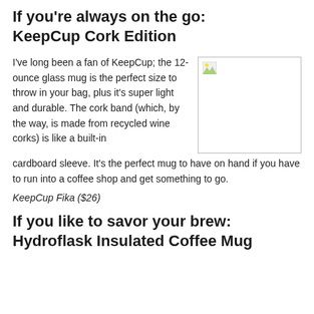If you're always on the go: KeepCup Cork Edition
I've long been a fan of KeepCup; the 12-ounce glass mug is the perfect size to throw in your bag, plus it's super light and durable. The cork band (which, by the way, is made from recycled wine corks) is like a built-in cardboard sleeve. It's the perfect mug to have on hand if you have to run into a coffee shop and get something to go.
[Figure (photo): Product image placeholder for KeepCup Fika]
KeepCup Fika ($26)
If you like to savor your brew: Hydroflask Insulated Coffee Mug